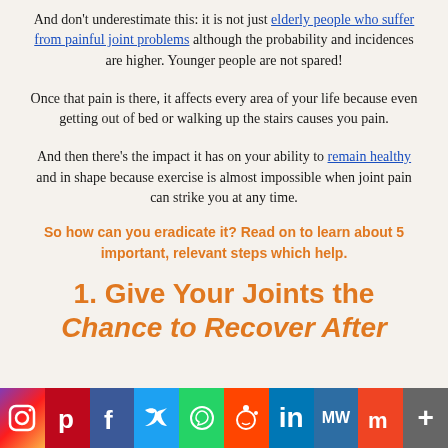And don't underestimate this: it is not just elderly people who suffer from painful joint problems although the probability and incidences are higher. Younger people are not spared!
Once that pain is there, it affects every area of your life because even getting out of bed or walking up the stairs causes you pain.
And then there's the impact it has on your ability to remain healthy and in shape because exercise is almost impossible when joint pain can strike you at any time.
So how can you eradicate it? Read on to learn about 5 important, relevant steps which help.
1. Give Your Joints the Chance to Recover After
[Figure (infographic): Social media share bar with icons for Instagram, Pinterest, Facebook, Twitter, WhatsApp, Reddit, LinkedIn, MeWe, Mix, and More]